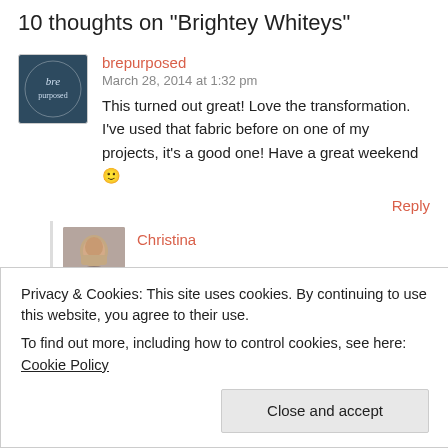10 thoughts on "Brightey Whiteys"
brepurposed
March 28, 2014 at 1:32 pm
This turned out great! Love the transformation. I've used that fabric before on one of my projects, it's a good one! Have a great weekend 🙂
Reply
Christina
Privacy & Cookies: This site uses cookies. By continuing to use this website, you agree to their use.
To find out more, including how to control cookies, see here: Cookie Policy
Close and accept